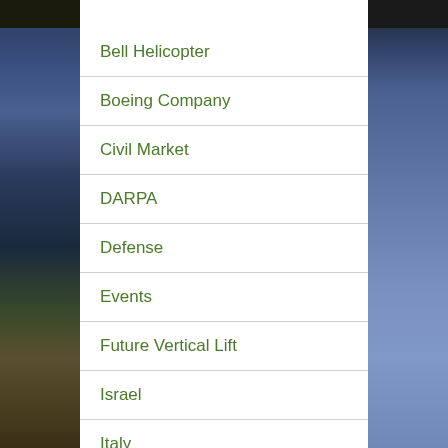Bell Helicopter
Boeing Company
Civil Market
DARPA
Defense
Events
Future Vertical Lift
Israel
Italy
Japan